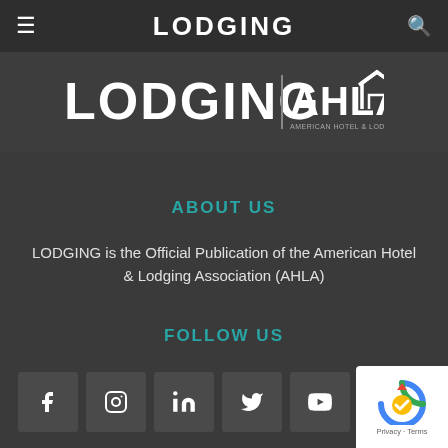LODGING
[Figure (logo): LODGING | AHLA (American Hotel & Lodging Association) logo on dark background]
ABOUT US
LODGING is the Official Publication of the American Hotel & Lodging Association (AHLA)
FOLLOW US
[Figure (other): Social media icons row: Facebook, Instagram, LinkedIn, Twitter/X, YouTube]
[Figure (other): reCAPTCHA badge with Privacy - Terms text]